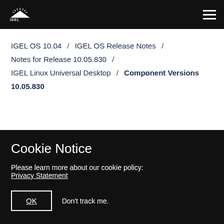IGEL [logo] [hamburger menu]
IGEL OS 10.04 / IGEL OS Release Notes / Notes for Release 10.05.830 / IGEL Linux Universal Desktop / Component Versions 10.05.830
↓ PDF
Cookie Notice
Please learn more about our cookie policy: Privacy Statement
OK  Don't track me.